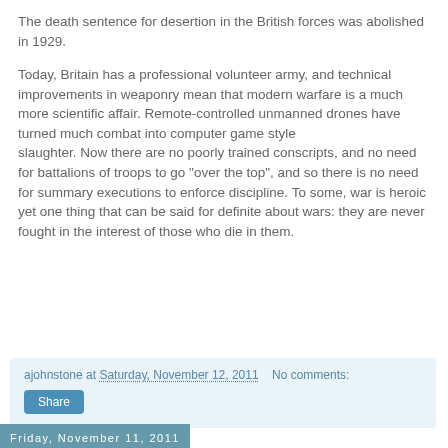The death sentence for desertion in the British forces was abolished in 1929.
Today, Britain has a professional volunteer army, and technical improvements in weaponry mean that modern warfare is a much more scientific affair. Remote-controlled unmanned drones have turned much combat into computer game style slaughter. Now there are no poorly trained conscripts, and no need for battalions of troops to go "over the top", and so there is no need for summary executions to enforce discipline. To some, war is heroic yet one thing that can be said for definite about wars: they are never fought in the interest of those who die in them.
ajohnstone at Saturday, November 12, 2011   No comments:
Share
Friday, November 11, 2011
Talking Capitalism is not talking b...